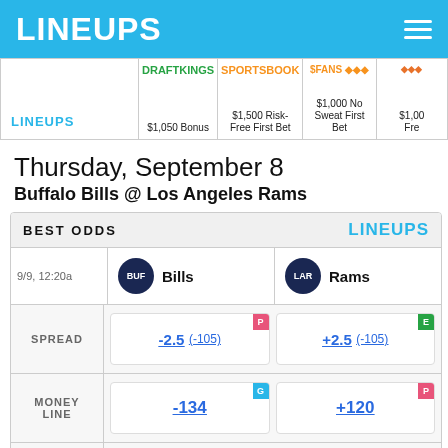LINEUPS
|  | DRAFTKINGS | SPORTSBOOK |  |  |
| --- | --- | --- | --- | --- |
| LINEUPS | $1,050 Bonus | $1,500 Risk-Free First Bet | $1,000 No Sweat First Bet | $1,000 Fre... |
Thursday, September 8
Buffalo Bills @ Los Angeles Rams
| BEST ODDS | LINEUPS |
| --- | --- |
| 9/9, 12:20a | BUF Bills | LAR Rams |
| SPREAD | -2.5 (-105) | +2.5 (-105) |
| MONEY LINE | -134 | +120 |
| OVER UNDER | > 52 (-110) | < 52.5 (-110) |